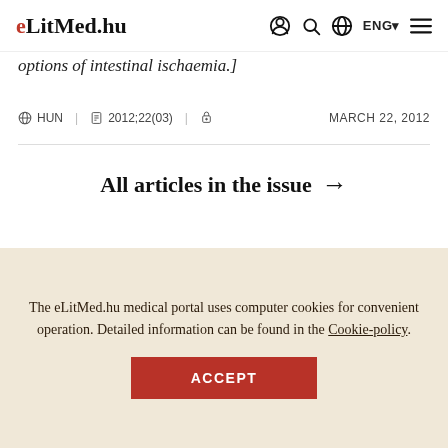eLitMed.hu — ENG navigation bar
options of intestinal ischaemia.]
HUN   2012;22(03)   [lock icon]   MARCH 22, 2012
All articles in the issue →
Related contents
The eLitMed.hu medical portal uses computer cookies for convenient operation. Detailed information can be found in the Cookie-policy.
ACCEPT